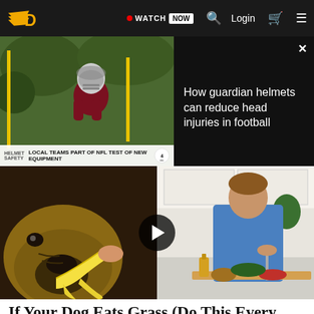Navigation bar with logo, WATCH NOW, search, Login, cart, menu
[Figure (screenshot): TV news video thumbnail: football player wearing guardian helmet at practice. Lower-third ticker reads: HELMET SAFETY / LOCAL TEAMS PART OF NFL TEST OF NEW EQUIPMENT]
How guardian helmets can reduce head injuries in football
[Figure (screenshot): Split video thumbnail: left side shows a French bulldog eating a banana, right side shows a man in blue shirt chopping vegetables in a kitchen. Play button overlaid in center.]
If Your Dog Eats Grass (Do This Every Day)
Ultimate Pet Nutrition | Sponsored